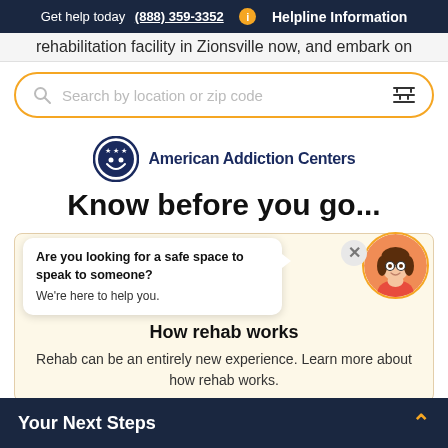Get help today (888) 359-3352  i  Helpline Information
rehabilitation facility in Zionsville now, and embark on
[Figure (screenshot): Search bar with gold/orange border, magnifying glass icon on left, placeholder text 'Search by location or zip code', filter icon on right]
[Figure (logo): American Addiction Centers logo — circular emblem with stars and face icon, followed by text 'American Addiction Centers']
Know before you go...
[Figure (illustration): Chat bubble popup saying 'Are you looking for a safe space to speak to someone? We're here to help you.' with a close X button and an avatar of a woman with brown hair and glasses]
How rehab works
Rehab can be an entirely new experience. Learn more about how rehab works.
Your Next Steps